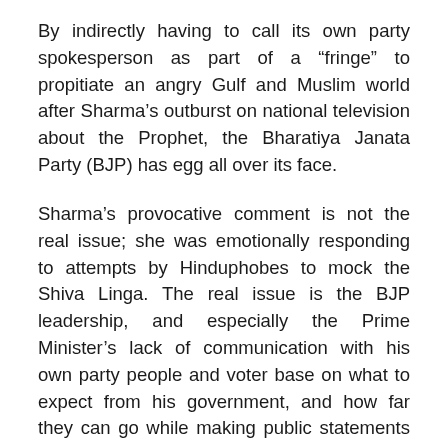By indirectly having to call its own party spokesperson as part of a “fringe” to propitiate an angry Gulf and Muslim world after Sharma’s outburst on national television about the Prophet, the Bharatiya Janata Party (BJP) has egg all over its face.
Sharma’s provocative comment is not the real issue; she was emotionally responding to attempts by Hinduphobes to mock the Shiva Linga. The real issue is the BJP leadership, and especially the Prime Minister’s lack of communication with his own party people and voter base on what to expect from his government, and how far they can go while making public statements on social media, or in that warzone called prime time television.
The core voter base expects steady forward movement towards protecting Hindu interests, and a directional and